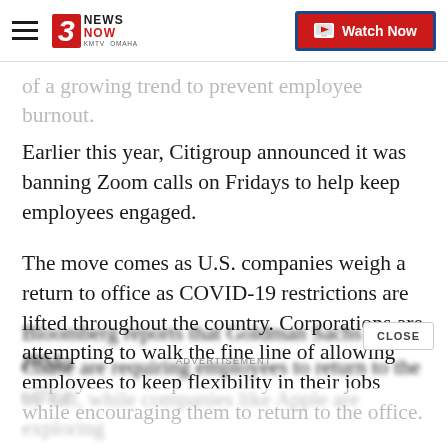3 News Now KMTV Omaha — Watch Now
of a growing trend to prevent employee burnout. Earlier this year, Citigroup announced it was banning Zoom calls on Fridays to help keep employees engaged.
The move comes as U.S. companies weigh a return to office as COVID-19 restrictions are lifted throughout the country. Corporations are attempting to walk the fine line of allowing employees to keep flexibility in their jobs while encouraging them to return to the office.
Bloomberg reports that Goldman Sachs and JPMorgan Chase are requiring employees to return to the office by fall, while companies like Apple are exploring